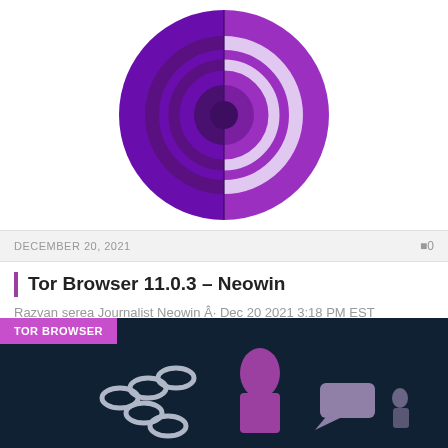[Figure (logo): Tor Browser purple onion logo with concentric arcs on a white background]
DECEMBER 20, 2021
0
Tor Browser 11.0.3 – Neowin
Razvan serea Journalist Neowin Â· Dec 20 2021 3:18 PM EST
Protect your privacy. Protect...
[Figure (illustration): Dark teal background illustration with Tor Browser badge, showing a stylized figure with chains]